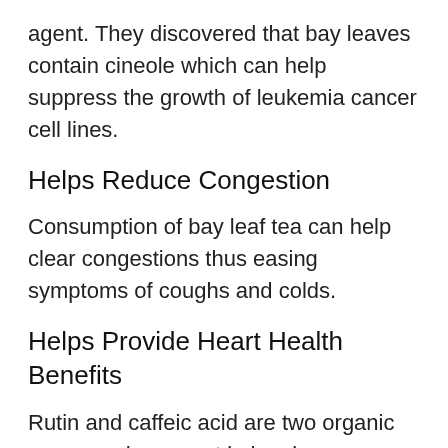agent. They discovered that bay leaves contain cineole which can help suppress the growth of leukemia cancer cell lines.
Helps Reduce Congestion
Consumption of bay leaf tea can help clear congestions thus easing symptoms of coughs and colds.
Helps Provide Heart Health Benefits
Rutin and caffeic acid are two organic compounds present in bay leaves. These two have the ability to give us a significant heart boost. Caffeic acid helps boost...